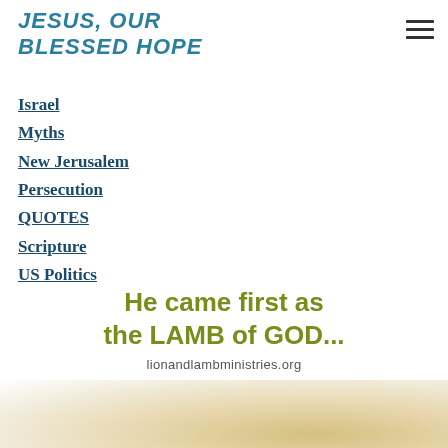JESUS, OUR BLESSED HOPE
Israel
Myths
New Jerusalem
Persecution
QUOTES
Scripture
US Politics
World
[Figure (illustration): Promotional banner: 'He came first as the LAMB of GOD...' with website lionandlambministries.org and a photo of a lamb below.]